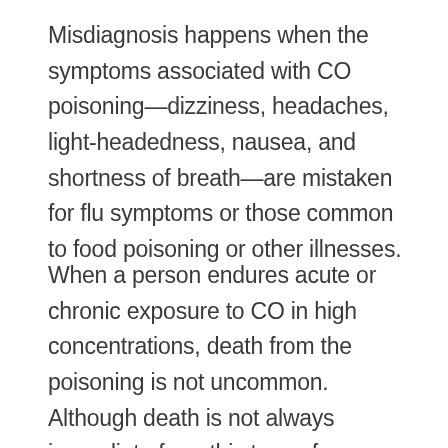Misdiagnosis happens when the symptoms associated with CO poisoning—dizziness, headaches, light-headedness, nausea, and shortness of breath—are mistaken for flu symptoms or those common to food poisoning or other illnesses.
When a person endures acute or chronic exposure to CO in high concentrations, death from the poisoning is not uncommon. Although death is not always immediate from this type of exposure, cardiac deaths can occur suddenly due to